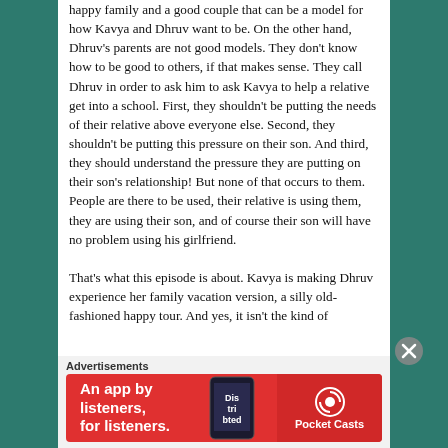happy family and a good couple that can be a model for how Kavya and Dhruv want to be. On the other hand, Dhruv's parents are not good models. They don't know how to be good to others, if that makes sense. They call Dhruv in order to ask him to ask Kavya to help a relative get into a school. First, they shouldn't be putting the needs of their relative above everyone else. Second, they shouldn't be putting this pressure on their son. And third, they should understand the pressure they are putting on their son's relationship! But none of that occurs to them. People are there to be used, their relative is using them, they are using their son, and of course their son will have no problem using his girlfriend.

That's what this episode is about. Kavya is making Dhruv experience her family vacation version, a silly old-fashioned happy tour. And yes, it isn't the kind of
Advertisements
[Figure (other): Red advertisement banner for Pocket Casts app reading 'An app by listeners, for listeners.' with Pocket Casts logo and podcast app imagery]